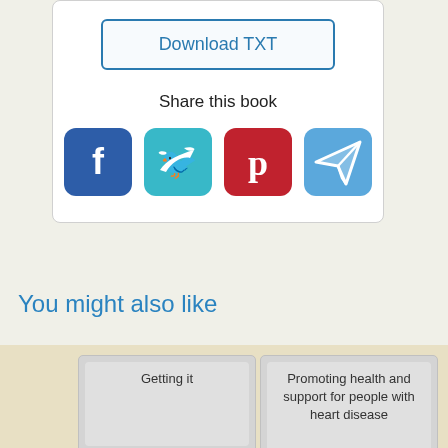[Figure (screenshot): Download TXT button with teal/blue border and text]
Share this book
[Figure (infographic): Social sharing icons: Facebook (blue), Twitter (teal), Pinterest (red), Share/Telegram (light blue)]
You might also like
[Figure (illustration): Book card titled 'Getting it' with gray placeholder]
[Figure (illustration): Book card titled 'Promoting health and support for people with heart disease' with gray placeholder]